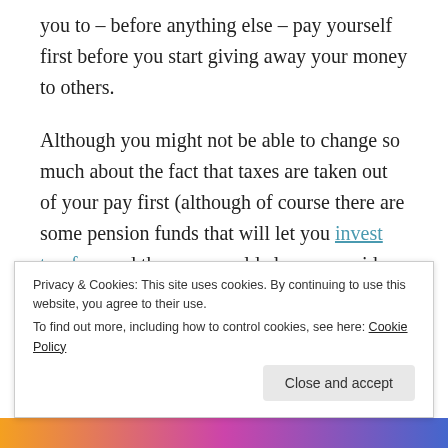you to – before anything else – pay yourself first before you start giving away your money to others.
Although you might not be able to change so much about the fact that taxes are taken out of your pay first (although of course there are some pension funds that will let you invest tax-free and then you could always consider moving to a lower tax state or country), you can pretty much make sure that as soon as you receive your net pay that you pay yourself first.
Privacy & Cookies: This site uses cookies. By continuing to use this website, you agree to their use.
To find out more, including how to control cookies, see here: Cookie Policy